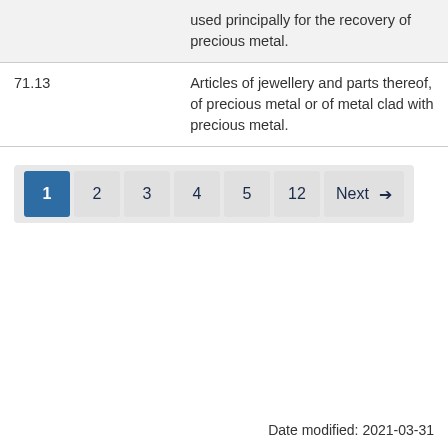| Code | Description |
| --- | --- |
|  | used principally for the recovery of precious metal. |
| 71.13 | Articles of jewellery and parts thereof, of precious metal or of metal clad with precious metal. |
Pagination: 1 2 3 4 5 12 Next
Date modified: 2021-03-31